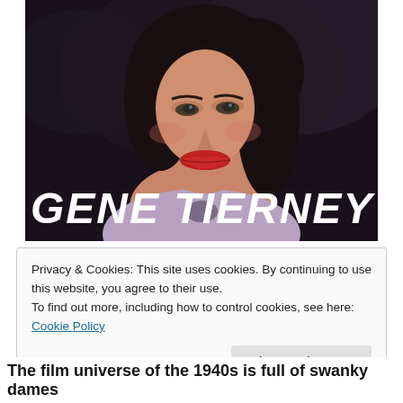[Figure (photo): Film still or title card showing Gene Tierney, a woman with dark hair and red lips smiling, with her name 'GENE TIERNEY' displayed in large white italic bold text overlaid at the bottom of the image.]
Privacy & Cookies: This site uses cookies. By continuing to use this website, you agree to their use.
To find out more, including how to control cookies, see here: Cookie Policy
Close and accept
The film universe of the 1940s is full of swanky dames